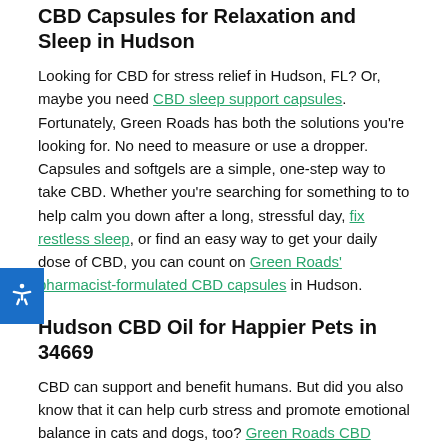CBD Capsules for Relaxation and Sleep in Hudson
Looking for CBD for stress relief in Hudson, FL? Or, maybe you need CBD sleep support capsules. Fortunately, Green Roads has both the solutions you're looking for. No need to measure or use a dropper. Capsules and softgels are a simple, one-step way to take CBD. Whether you're searching for something to to help calm you down after a long, stressful day, fix restless sleep, or find an easy way to get your daily dose of CBD, you can count on Green Roads' pharmacist-formulated CBD capsules in Hudson.
Hudson CBD Oil for Happier Pets in 34669
CBD can support and benefit humans. But did you also know that it can help curb stress and promote emotional balance in cats and dogs, too? Green Roads CBD products for pets in 34669 can help support well-being and a sense of calm in your furry friend. CBD Oil for cats and dogs can also benefit aging or generally nervous pets during stressful moments like long car rides, noisy fireworks, vet visits, and stress-inducing thunderstorms. If you'd like to add